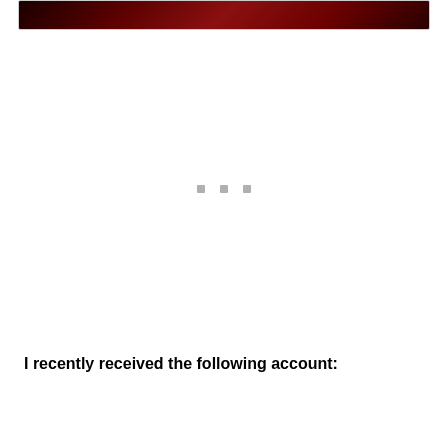[Figure (photo): Dark reddish image, partially visible at the top of the page, appears to be a dark themed banner or cover image]
I recently received the following account: